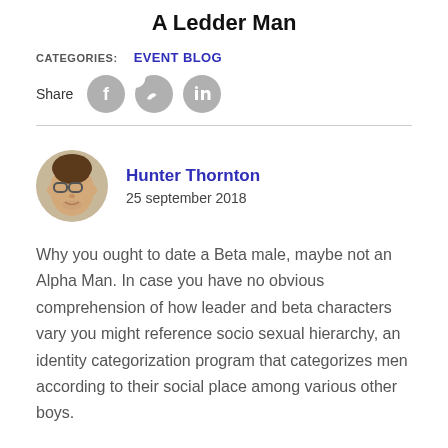A Ledder Man
CATEGORIES:  EVENT BLOG
[Figure (illustration): Share row with Facebook, Twitter, and LinkedIn social media icon buttons]
[Figure (photo): Circular avatar photo of Hunter Thornton, a man with glasses]
Hunter Thornton
25 september 2018
Why you ought to date a Beta male, maybe not an Alpha Man. In case you have no obvious comprehension of how leader and beta characters vary you might reference socio sexual hierarchy, an identity categorization program that categorizes men according to their social place among various other boys.